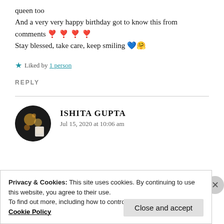queen too
And a very very happy birthday got to know this from comments ❣️❣️❣️❣️
Stay blessed, take care, keep smiling 💙🤗
★ Liked by 1 person
REPLY
ISHITA GUPTA
Jul 15, 2020 at 10:06 am
Privacy & Cookies: This site uses cookies. By continuing to use this website, you agree to their use.
To find out more, including how to control cookies, see here: Cookie Policy
Close and accept